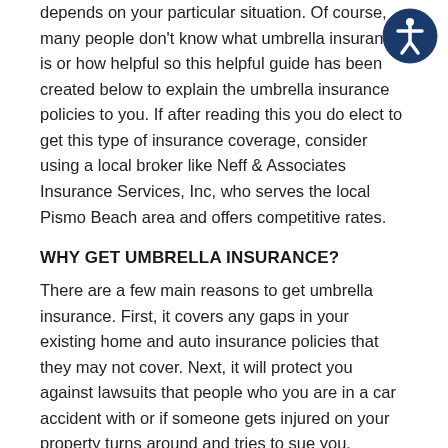depends on your particular situation. Of course, many people don't know what umbrella insurance is or how helpful so this helpful guide has been created below to explain the umbrella insurance policies to you. If after reading this you do elect to get this type of insurance coverage, consider using a local broker like Neff & Associates Insurance Services, Inc, who serves the local Pismo Beach area and offers competitive rates.
WHY GET UMBRELLA INSURANCE?
There are a few main reasons to get umbrella insurance. First, it covers any gaps in your existing home and auto insurance policies that they may not cover. Next, it will protect you against lawsuits that people who you are in a car accident with or if someone gets injured on your property turns around and tries to sue you. Umbrella insurance also protects you from slander or libel, as